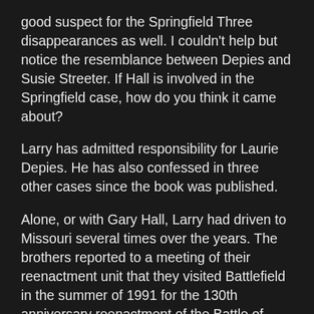good suspect for the Springfield Three disappearances as well. I couldn't help but notice the resemblance between Depies and Susie Streeter. If Hall is involved in the Springfield case, how do you think it came about?
Larry has admitted responsibility for Laurie Depies. He has also confessed in three other cases since the book was published.
Alone, or with Gary Hall, Larry had driven to Missouri several times over the years. The brothers reported to a meeting of their reenactment unit that they visited Battlefield in the summer of 1991 for the 130th anniversary reenactment of the Battle of Wilson's Creek. That is documented. I have interviewed a family member who distinctly remembers the twins attending Battlefield sometime around 1992.